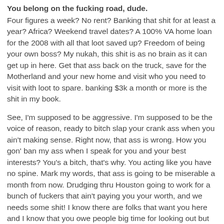You belong on the fucking road, dude.
Four figures a week? No rent? Banking that shit for at least a year? Africa? Weekend travel dates? A 100% VA home loan for the 2008 with all that loot saved up? Freedom of being your own boss? My nukah, this shit is as no brain as it can get up in here. Get that ass back on the truck, save for the Motherland and your new home and visit who you need to visit with loot to spare. banking $3k a month or more is the shit in my book.
See, I'm supposed to be aggressive. I'm supposed to be the voice of reason, ready to bitch slap your crank ass when you ain't making sense. Right now, that ass is wrong. How you gon' ban my ass when I speak for you and your best interests? You's a bitch, that's why. You acting like you have no spine. Mark my words, that ass is going to be miserable a month from now. Drudging thru Houston going to work for a bunch of fuckers that ain't paying you your worth, and we needs some shit! I know there are folks that want you here and I know that you owe people big time for looking out but there is a compromise. Giving up your dreams for a desk, limited...